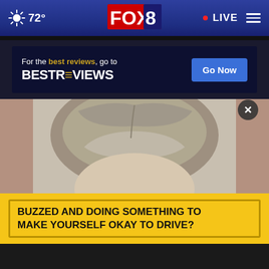72° FOX 8 LIVE
[Figure (screenshot): BestReviews advertisement banner on dark navy background. Text reads: 'For the best reviews, go to BESTREVIEWS' with a 'Go Now' button.]
[Figure (photo): Close-up mugshot photo showing the top of a person's head with gray/blonde hair, slightly cropped.]
BUZZED AND DOING SOMETHING TO MAKE YOURSELF OKAY TO DRIVE?